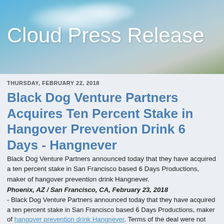[Figure (illustration): Blue sky with clouds and trees background banner with 'Cloud Press Release' title text in white]
Cloud Press Release
THURSDAY, FEBRUARY 22, 2018
Black Dog Venture Partners Acquires Ten Percent Stake in Hangover Prevention Drink 6 Days - Hangnever
Black Dog Venture Partners announced today that they have acquired a ten percent stake in San Francisco based 6 Days Productions, maker of hangover prevention drink Hangnever.
Phoenix, AZ / San Francisco, CA, February 23, 2018 - Black Dog Venture Partners announced today that they have acquired a ten percent stake in San Francisco based 6 Days Productions, maker of hangover prevention drink Hangnever. Terms of the deal were not disclosed.